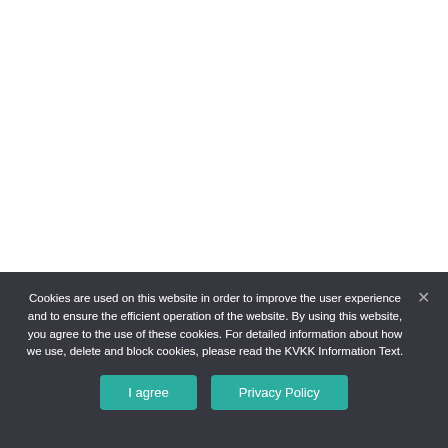Cookies are used on this website in order to improve the user experience and to ensure the efficient operation of the website. By using this website, you agree to the use of these cookies. For detailed information about how we use, delete and block cookies, please read the KVKK Information Text.
I agree
Privacy Policy